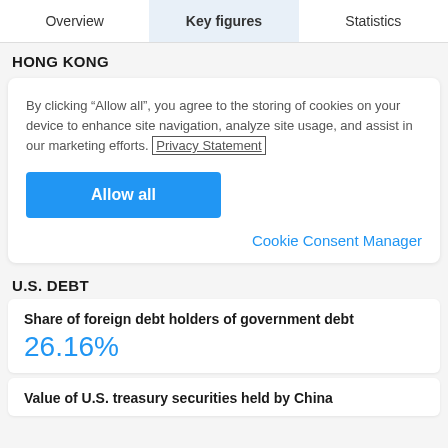Overview | Key figures | Statistics
HONG KONG
By clicking “Allow all”, you agree to the storing of cookies on your device to enhance site navigation, analyze site usage, and assist in our marketing efforts. Privacy Statement
Allow all
Cookie Consent Manager
U.S. DEBT
Share of foreign debt holders of government debt
26.16%
Value of U.S. treasury securities held by China